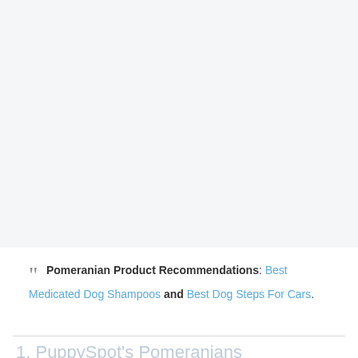[Figure (photo): Large light gray empty area at the top of the page, representing a placeholder image region.]
" Pomeranian Product Recommendations: Best Medicated Dog Shampoos and Best Dog Steps For Cars.
1. PuppySpot's Pomeranians